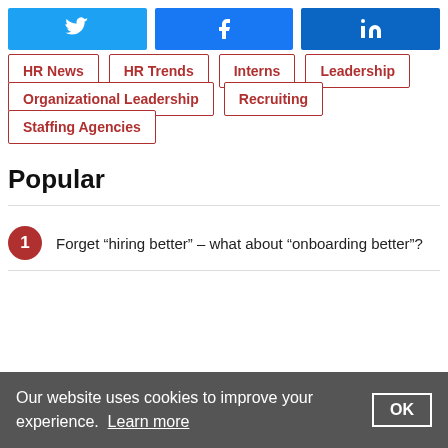[Figure (infographic): Social share buttons: Twitter (blue), Facebook (blue), LinkedIn (dark blue)]
HR News
HR Trends
Interns
Leadership
Organizational Leadership
Recruiting
Staffing Agencies
Popular
Forget “hiring better” – what about “onboarding better”?
Our website uses cookies to improve your experience. Learn more